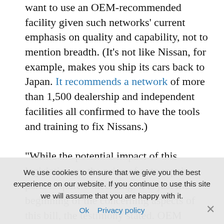want to use an OEM-recommended facility given such networks' current emphasis on quality and capability, not to mention breadth. (It's not like Nissan, for example, makes you ship its cars back to Japan. It recommends a network of more than 1,500 dealership and independent facilities all confirmed to have the tools and training to fix Nissans.)
“While the potential impact of this legislation on the price of auto repair parts is quite concerning, it is just the beginning of the concerning aspects of this bill, the testimony stated. OEM recommendations are not limited to parts and include missives that stray from what one would think of as
We use cookies to ensure that we give you the best experience on our website. If you continue to use this site we will assume that you are happy with it. Ok  Privacy policy